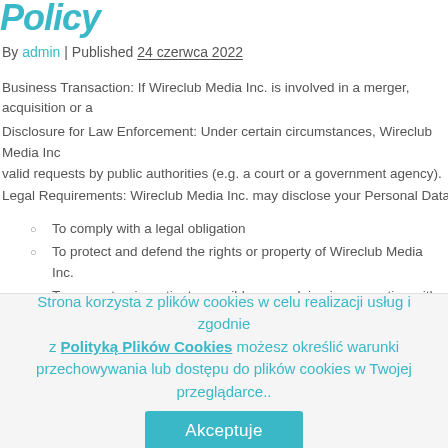Policy
By admin | Published 24 czerwca 2022
Business Transaction: If Wireclub Media Inc. is involved in a merger, acquisition or a
Disclosure for Law Enforcement: Under certain circumstances, Wireclub Media Inc valid requests by public authorities (e.g. a court or a government agency).
Legal Requirements: Wireclub Media Inc. may disclose your Personal Data in the go
To comply with a legal obligation
To protect and defend the rights or property of Wireclub Media Inc.
To prevent or investigate possible wrongdoing in connection with the Servic
To protect the personal safety of users of the Service or the public
To protect against legal liability
Strona korzysta z plików cookies w celu realizacji usług i zgodnie z Polityką Plików Cookies możesz określić warunki przechowywania lub dostępu do plików cookies w Twojej przeglądarce..
Akceptuje